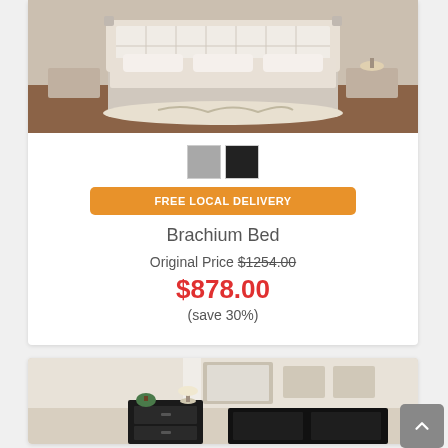[Figure (photo): Photo of a Brachium Bed with upholstered headboard in a bedroom setting]
Color swatches: gray, black
FREE LOCAL DELIVERY
Brachium Bed
Original Price $1254.00
$878.00
(save 30%)
[Figure (photo): Photo of a bedroom furniture set including nightstand and dresser in black finish]